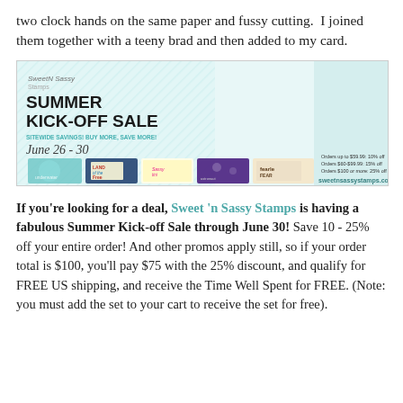two clock hands on the same paper and fussy cutting.  I joined them together with a teeny brad and then added to my card.
[Figure (photo): Sweet 'n Sassy Stamps Summer Kick-Off Sale banner ad showing multiple handmade cards, sale dates June 26-30, discount tiers, and sweetnsassystamps.com URL.]
If you're looking for a deal, Sweet 'n Sassy Stamps is having a fabulous Summer Kick-off Sale through June 30! Save 10 - 25% off your entire order! And other promos apply still, so if your order total is $100, you'll pay $75 with the 25% discount, and qualify for FREE US shipping, and receive the Time Well Spent for FREE. (Note: you must add the set to your cart to receive the set for free).